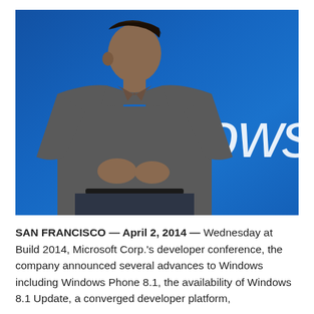[Figure (photo): A man in a gray polo shirt speaking on stage in front of a blue background with the word 'Windows' in white letters, at what appears to be the Microsoft Build 2014 developer conference in San Francisco.]
SAN FRANCISCO — April 2, 2014 — Wednesday at Build 2014, Microsoft Corp.'s developer conference, the company announced several advances to Windows including Windows Phone 8.1, the availability of Windows 8.1 Update, a converged developer platform,